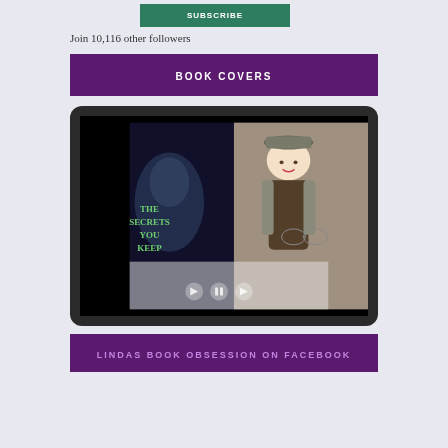SUBSCRIBE
Join 10,116 other followers
BOOK COVERS
[Figure (photo): A tablet device displaying a photo of a doll wearing a detective-style cap and outfit, holding a book titled 'The Secrets You Keep'. The tablet shows video playback controls at the bottom.]
LINDAS BOOK OBSESSION ON FACEBOOK